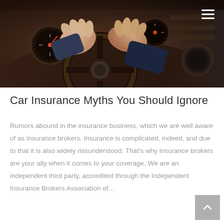[Figure (photo): Overhead view of a person's hands gripping a car steering wheel, with dashboard gauges visible in the background. Warm reddish-brown tones.]
Car Insurance Myths You Should Ignore
Rumors abound in the insurance business, which we are well aware of as insurance brokers. Insurance is complicated, indeed, and due to that it is also widely misunderstood. That's why insurance brokers are your ally when it comes to your coverage. We are an independent third party, accredited through the Independent Insurance Brokers Association of…